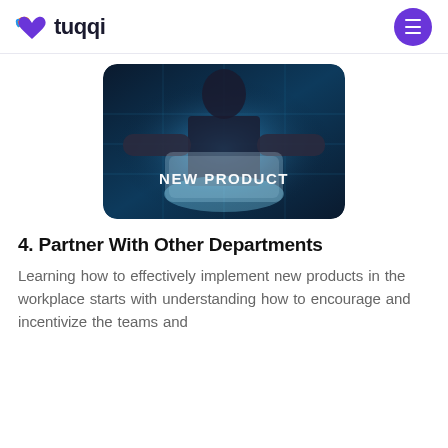tuqqi
[Figure (photo): A person holding a glowing translucent tablet or display in a blue-toned tech environment with digital overlays. Text overlay reads 'NEW PRODUCT' in white bold letters.]
4. Partner With Other Departments
Learning how to effectively implement new products in the workplace starts with understanding how to encourage and incentivize the teams and